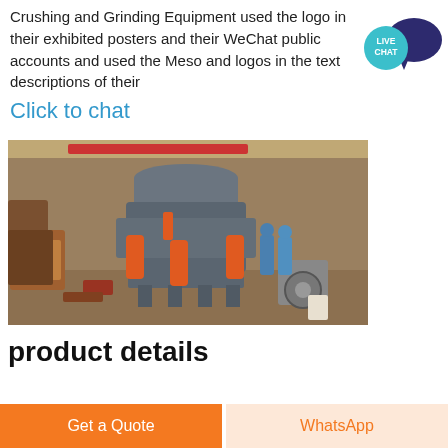Crushing and Grinding Equipment used the logo in their exhibited posters and their WeChat public accounts and used the Meso and logos in the text descriptions of their
Click to chat
[Figure (photo): Industrial cone crusher machine in a factory/workshop setting, grey and orange colored heavy equipment with workers in background]
product details
Get a Quote
WhatsApp